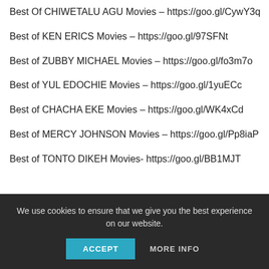Best Of CHIWETALU AGU Movies – https://goo.gl/CywY3q
Best of KEN ERICS Movies – https://goo.gl/97SFNt
Best of ZUBBY MICHAEL Movies – https://goo.gl/fo3m7o
Best of YUL EDOCHIE Movies – https://goo.gl/1yuECc
Best of CHACHA EKE Movies – https://goo.gl/WK4xCd
Best of MERCY JOHNSON Movies – https://goo.gl/Pp8iaP
Best of TONTO DIKEH Movies- https://goo.gl/BB1MJT
We use cookies to ensure that we give you the best experience on our website.